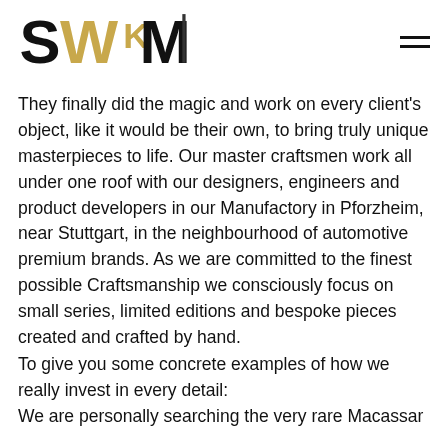SWM logo and navigation menu
They finally did the magic and work on every client's object, like it would be their own, to bring truly unique masterpieces to life. Our master craftsmen work all under one roof with our designers, engineers and product developers in our Manufactory in Pforzheim, near Stuttgart, in the neighbourhood of automotive premium brands. As we are committed to the finest possible Craftsmanship we consciously focus on small series, limited editions and bespoke pieces created and crafted by hand.
To give you some concrete examples of how we really invest in every detail:
We are personally searching the very rare Macassar